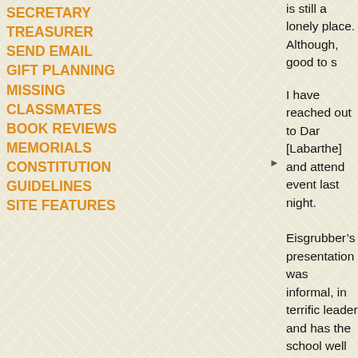SECRETARY
TREASURER
SEND EMAIL
GIFT PLANNING
MISSING CLASSMATES
BOOK REVIEWS
MEMORIALS
CONSTITUTION
GUIDELINES
SITE FEATURES
is still a lonely place. Although, good to s
I have reached out to Dar [Labarthe] and attend event last night.
Eisgrubber’s presentation was informal, in terrific leader and has the school well on i continued improvement in the decades ah Covid emergency and the decision to sen give the faculty two weeks to transition int
He was at his best as he described Prince the name of President Wilson from the So Mellody Hobson ‘91, a truly remarkable a Googled her .... I thought I heard she is a Princetonian from a disadvantaged comm undergraduate experience.
With respect to your concern .... no eviden